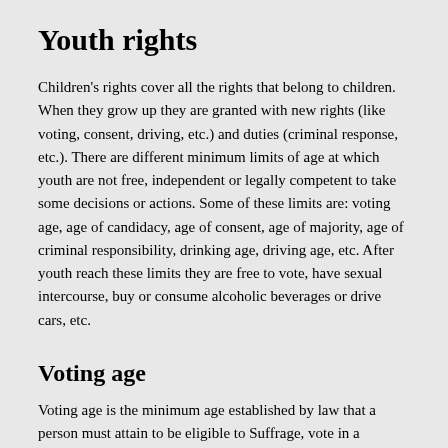Youth rights
Children's rights cover all the rights that belong to children. When they grow up they are granted with new rights (like voting, consent, driving, etc.) and duties (criminal response, etc.). There are different minimum limits of age at which youth are not free, independent or legally competent to take some decisions or actions. Some of these limits are: voting age, age of candidacy, age of consent, age of majority, age of criminal responsibility, drinking age, driving age, etc. After youth reach these limits they are free to vote, have sexual intercourse, buy or consume alcoholic beverages or drive cars, etc.
Voting age
Voting age is the minimum age established by law that a person must attain to be eligible to Suffrage, vote in a